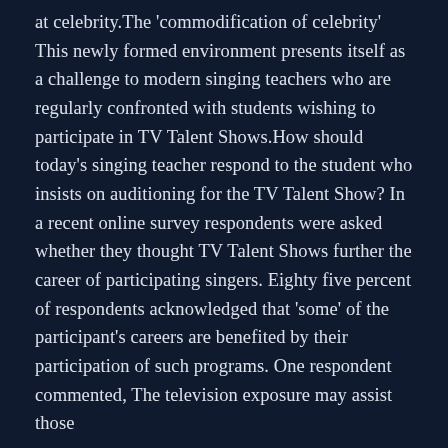at celebrity.The 'commodification of celebrity'  This newly formed environment presents itself as a challenge to modern singing teachers who are regularly confronted with students wishing to participate in TV Talent Shows.How should today's singing teacher respond to the student who insists on auditioning for the TV Talent Show? In a recent online survey respondents were asked whether they thought TV Talent Shows further the career of participating singers. Eighty five percent of respondents acknowledged that 'some' of the participant's careers are benefited by their participation of such programs. One respondent commented, The television exposure may assist those